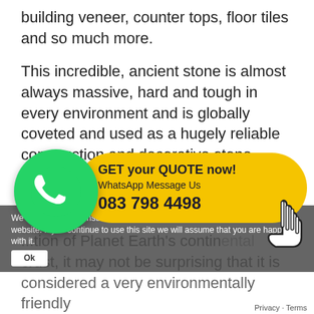building veneer, counter tops, floor tiles and so much more.
This incredible, ancient stone is almost always massive, hard and tough in every environment and is globally coveted and used as a hugely reliable construction and decorative stone.
Speaking of décor, blue and red Granite is the most colours available in this
[Figure (screenshot): WhatsApp contact bubble (green circle with phone icon) and yellow quote banner saying 'GET your QUOTE now! WhatsApp Message Us 083 798 4498']
We use cookies to ensure that we give you the best experience on our website. If you continue to use this site we will assume that you are happy with it.
...tion of Planet Earth's continental crust, it may not be surprising that it is considered a very environmentally friendly product for